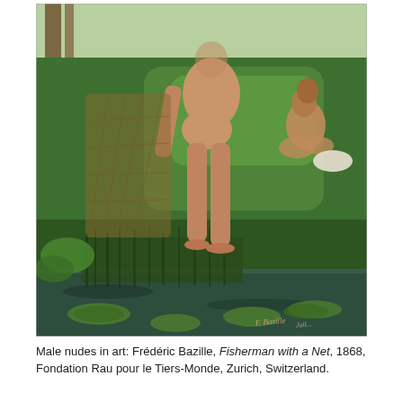[Figure (illustration): Painting by Frédéric Bazille titled 'Fisherman with a Net', 1868. Shows a standing male nude figure from behind holding a fishing net, with another seated male nude figure in the background on a grassy riverbank. Water lilies and reeds visible in the foreground pond. Artist's signature 'F. Bazille' visible in lower right corner.]
Male nudes in art: Frédéric Bazille, Fisherman with a Net, 1868, Fondation Rau pour le Tiers-Monde, Zurich, Switzerland.